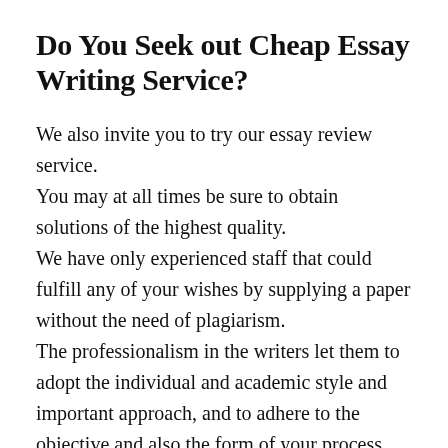Do You Seek out Cheap Essay Writing Service?
We also invite you to try our essay review service.
You may at all times be sure to obtain solutions of the highest quality.
We have only experienced staff that could fulfill any of your wishes by supplying a paper without the need of plagiarism.
The professionalism in the writers let them to adopt the individual and academic style and important approach, and to adhere to the objective and also the form of your process.
We produced it achievable as a consequence of our selection to buy essays cheap review…